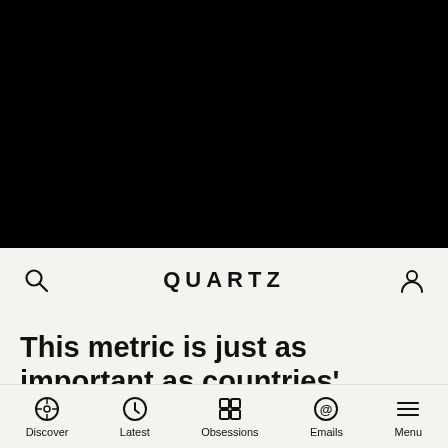[Figure (photo): Black hero image area at top of Quartz article page]
QUARTZ
This metric is just as important as countries’ rankings in math and science
Discover  Latest  Obsessions  Emails  Menu